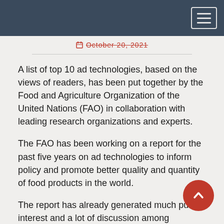October 20, 2021
A list of top 10 ad technologies, based on the views of readers, has been put together by the Food and Agriculture Organization of the United Nations (FAO) in collaboration with leading research organizations and experts.
The FAO has been working on a report for the past five years on ad technologies to inform policy and promote better quality and quantity of food products in the world.
The report has already generated much public interest and a lot of discussion among consumers.
In this article, we want to highlight the top 10